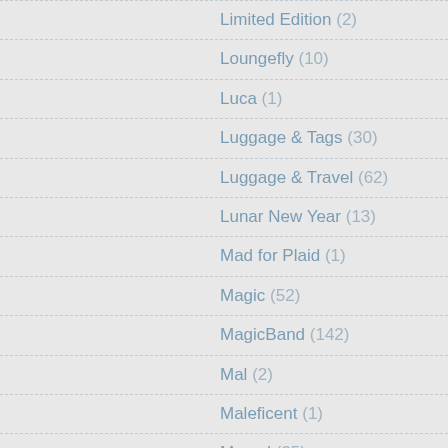Limited Edition (2)
Loungefly (10)
Luca (1)
Luggage & Tags (30)
Luggage & Travel (62)
Lunar New Year (13)
Mad for Plaid (1)
Magic (52)
MagicBand (142)
Mal (2)
Maleficent (1)
Marvel (35)
Medium Plush (162)
Men (687)
Mickey & Friends (?)